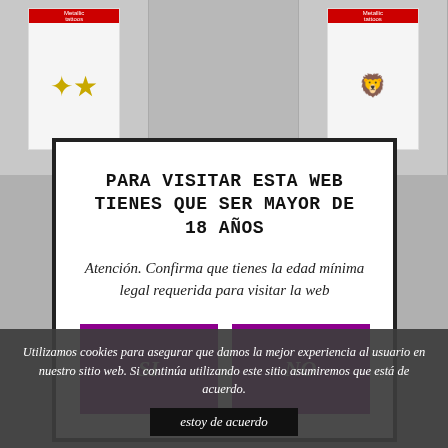[Figure (screenshot): Background showing product listing page with metallic tattoo product cards visible behind the modal overlay]
PARA VISITAR ESTA WEB TIENES QUE SER MAYOR DE 18 AÑOS
Atención. Confirma que tienes la edad mínima legal requerida para visitar la web
[Figure (other): Purple SI button]
[Figure (other): Purple NO button]
Utilizamos cookies para asegurar que damos la mejor experiencia al usuario en nuestro sitio web. Si continúa utilizando este sitio asumiremos que está de acuerdo.
estoy de acuerdo